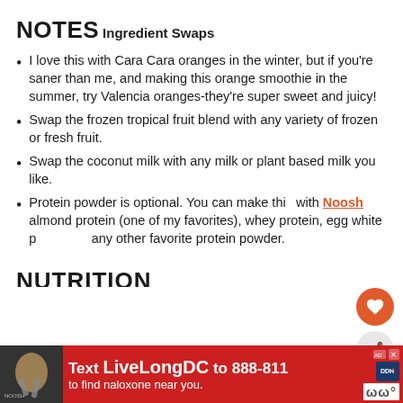NOTES
Ingredient Swaps
I love this with Cara Cara oranges in the winter, but if you're saner than me, and making this orange smoothie in the summer, try Valencia oranges-they're super sweet and juicy!
Swap the frozen tropical fruit blend with any variety of frozen or fresh fruit.
Swap the coconut milk with any milk or plant based milk you like.
Protein powder is optional. You can make this with Noosh almond protein (one of my favorites), whey protein, egg white protein, or any other favorite protein powder.
NUTRITION
[Figure (screenshot): Ad banner: Text LiveLongDC to 888-811 to find naloxone near you.]